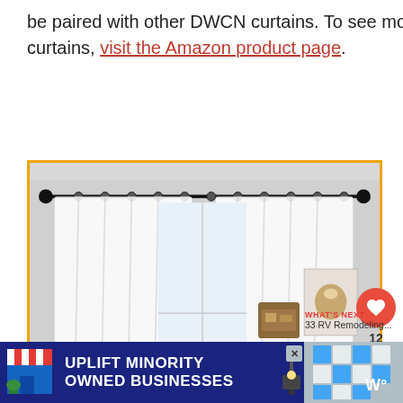be paired with other DWCN curtains. To see more on DWCN Lace curtains, visit the Amazon product page.
[Figure (photo): White lace sheer curtains hung on a curtain rod against a gray wall, with a small dresser and framed floral art visible in the room.]
[Figure (other): Heart (like) button showing 12 likes and a share button on the right sidebar.]
[Figure (other): What's Next panel showing a thumbnail and text '33 RV Remodeling...']
[Figure (infographic): Advertisement banner: UPLIFT MINORITY OWNED BUSINESSES on dark blue background with store icons.]